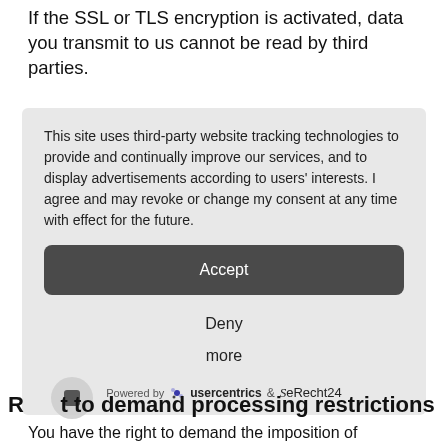If the SSL or TLS encryption is activated, data you transmit to us cannot be read by third parties.
This site uses third-party website tracking technologies to provide and continually improve our services, and to display advertisements according to users' interests. I agree and may revoke or change my consent at any time with effect for the future.
Accept
Deny
more
Powered by usercentrics & eRecht24
Right to demand processing restrictions
You have the right to demand the imposition of